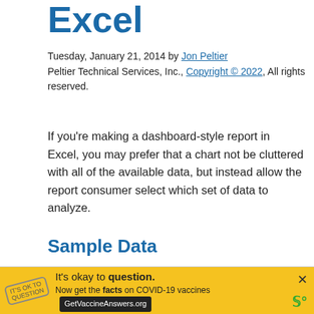Excel
Tuesday, January 21, 2014 by Jon Peltier
Peltier Technical Services, Inc., Copyright © 2022, All rights reserved.
If you're making a dashboard-style report in Excel, you may prefer that a chart not be cluttered with all of the available data, but instead allow the report consumer select which set of data to analyze.
Sample Data
This example will let the viewer select from among the three options in this table.
|  | A | B | C | D | E |
| --- | --- | --- | --- | --- | --- |
| 1 |  | a | b | c | d |
[Figure (other): Yellow advertisement banner: 'It's okay to question. Now get the facts on COVID-19 vaccines. GetVaccineAnswers.org' with a stamp logo and close button.]